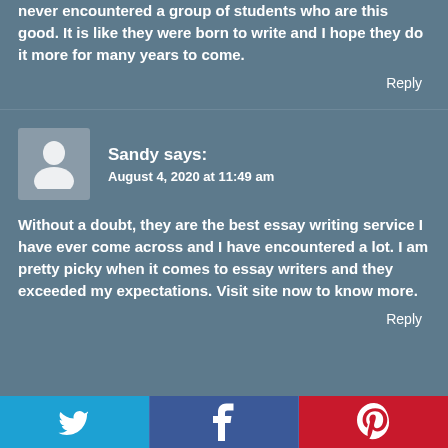never encountered a group of students who are this good. It is like they were born to write and I hope they do it more for many years to come.
Reply
Sandy says:
August 4, 2020 at 11:49 am
Without a doubt, they are the best essay writing service I have ever come across and I have encountered a lot. I am pretty picky when it comes to essay writers and they exceeded my expectations. Visit site now to know more.
Reply
[Figure (infographic): Social media share buttons bar at bottom: Twitter (blue), Facebook (dark blue), Pinterest (red) with respective icons]